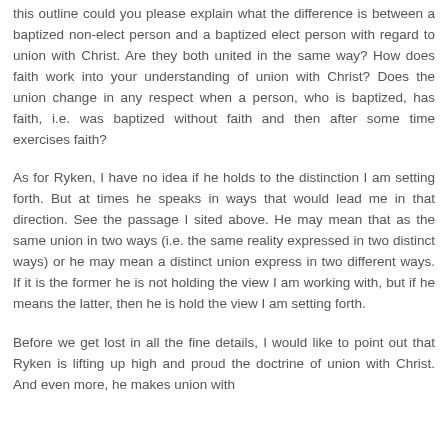this outline could you please explain what the difference is between a baptized non-elect person and a baptized elect person with regard to union with Christ. Are they both united in the same way? How does faith work into your understanding of union with Christ? Does the union change in any respect when a person, who is baptized, has faith, i.e. was baptized without faith and then after some time exercises faith?
As for Ryken, I have no idea if he holds to the distinction I am setting forth. But at times he speaks in ways that would lead me in that direction. See the passage I sited above. He may mean that as the same union in two ways (i.e. the same reality expressed in two distinct ways) or he may mean a distinct union express in two different ways. If it is the former he is not holding the view I am working with, but if he means the latter, then he is hold the view I am setting forth.
Before we get lost in all the fine details, I would like to point out that Ryken is lifting up high and proud the doctrine of union with Christ. And even more, he makes union with